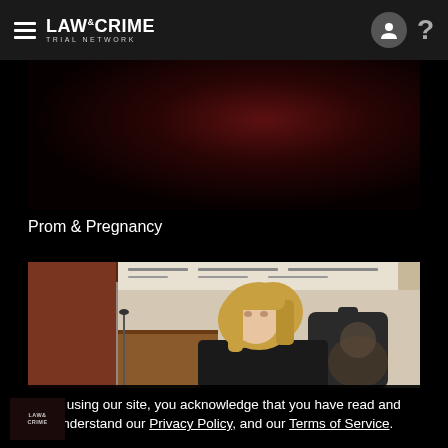LAW & CRIME TRIAL NETWORK
[Figure (photo): Dark crimson/maroon background thumbnail image for Prom & Pregnancy video]
Prom & Pregnancy
[Figure (screenshot): Courtroom video still showing a blonde woman in black clothing seated at a witness stand in a courtroom]
By using our site, you acknowledge that you have read and understand our Privacy Policy, and our Terms of Service.